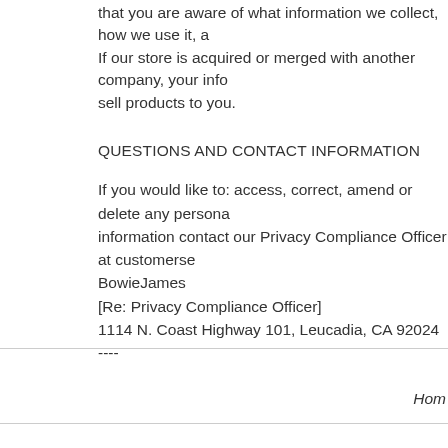that you are aware of what information we collect, how we use it, a... If our store is acquired or merged with another company, your info... sell products to you.
QUESTIONS AND CONTACT INFORMATION
If you would like to: access, correct, amend or delete any persona... information contact our Privacy Compliance Officer at customerse... BowieJames
[Re: Privacy Compliance Officer]
1114 N. Coast Highway 101, Leucadia, CA 92024
----
Hom